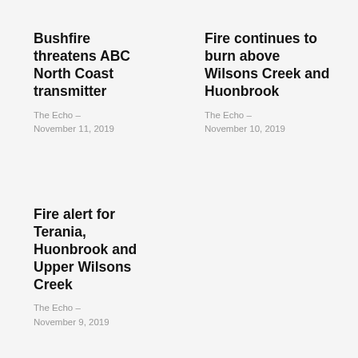Bushfire threatens ABC North Coast transmitter
The Echo – November 11, 2019
Fire continues to burn above Wilsons Creek and Huonbrook
The Echo – November 10, 2019
Fire alert for Terania, Huonbrook and Upper Wilsons Creek
The Echo – November 9, 2019